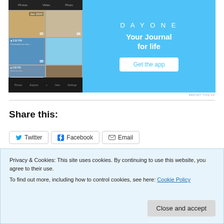[Figure (screenshot): Day One app advertisement showing smartphone screenshot with photo journal grid on left, and 'DAYONE - Your Journal for life' tagline with 'Get the app' button on sky-blue background on right.]
REPORT THIS AD
Share this:
Twitter  Facebook  Email
Privacy & Cookies: This site uses cookies. By continuing to use this website, you agree to their use.
To find out more, including how to control cookies, see here: Cookie Policy